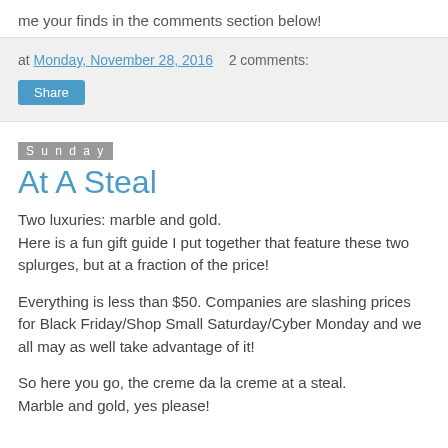me your finds in the comments section below!
at Monday, November 28, 2016   2 comments:
Share
Sunday
At A Steal
Two luxuries: marble and gold.
Here is a fun gift guide I put together that feature these two splurges, but at a fraction of the price!
Everything is less than $50. Companies are slashing prices for Black Friday/Shop Small Saturday/Cyber Monday and we all may as well take advantage of it!
So here you go, the creme da la creme at a steal.
Marble and gold, yes please!